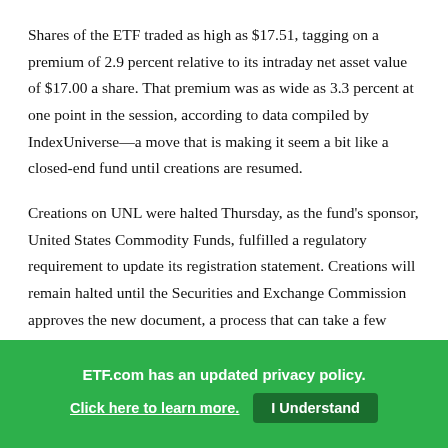Shares of the ETF traded as high as $17.51, tagging on a premium of 2.9 percent relative to its intraday net asset value of $17.00 a share. That premium was as wide as 3.3 percent at one point in the session, according to data compiled by IndexUniverse—a move that is making it seem a bit like a closed-end fund until creations are resumed.
Creations on UNL were halted Thursday, as the fund's sponsor, United States Commodity Funds, fulfilled a regulatory requirement to update its registration statement. Creations will remain halted until the Securities and Exchange Commission approves the new document, a process that can take a few days, sources say.
ETF.com has an updated privacy policy. Click here to learn more. I Understand